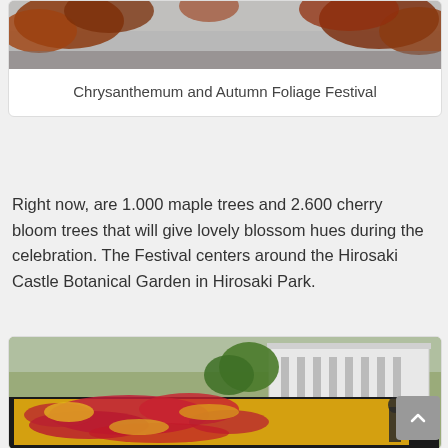[Figure (photo): Autumn foliage photo showing orange-red maple leaves and grey sky — top portion of a card image]
Chrysanthemum and Autumn Foliage Festival
Right now, are 1.000 maple trees and 2.600 cherry bloom trees that will give lovely blossom hues during the celebration. The Festival centers around the Hirosaki Castle Botanical Garden in Hirosaki Park.
[Figure (photo): Large chrysanthemum mosaic artwork displayed on a flat surface forming a figure in red/pink and yellow flowers, with a white building and trees in background. A person stands at the right edge for scale.]